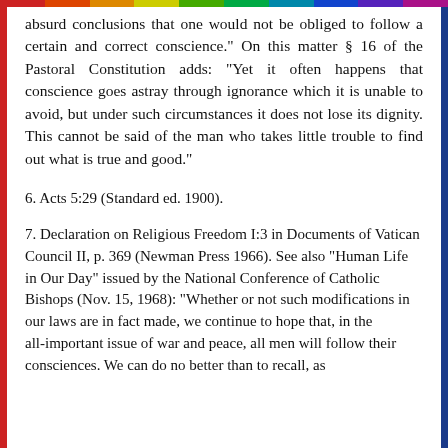absurd conclusions that one would not be obliged to follow a certain and correct conscience." On this matter § 16 of the Pastoral Constitution adds: "Yet it often happens that conscience goes astray through ignorance which it is unable to avoid, but under such circumstances it does not lose its dignity. This cannot be said of the man who takes little trouble to find out what is true and good."
6. Acts 5:29 (Standard ed. 1900).
7. Declaration on Religious Freedom I:3 in Documents of Vatican Council II, p. 369 (Newman Press 1966). See also "Human Life in Our Day" issued by the National Conference of Catholic Bishops (Nov. 15, 1968): "Whether or not such modifications in our laws are in fact made, we continue to hope that, in the all-important issue of war and peace, all men will follow their consciences. We can do no better than to recall, as